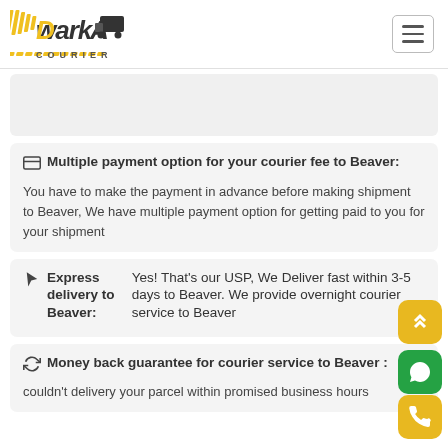Dwarka Courier
Multiple payment option for your courier fee to Beaver:
You have to make the payment in advance before making shipment to Beaver, We have multiple payment option for getting paid to you for your shipment
Express delivery to Beaver:
Yes! That's our USP, We Deliver fast within 3-5 days to Beaver. We provide overnight courier service to Beaver
Money back guarantee for courier service to Beaver :
couldn't delivery your parcel within promised business hours